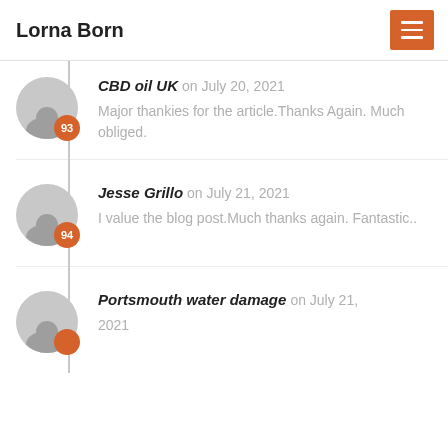Lorna Born
CBD oil UK on July 20, 2021 — Major thankies for the article.Thanks Again. Much obliged.
Jesse Grillo on July 21, 2021 — I value the blog post.Much thanks again. Fantastic..
Portsmouth water damage on July 21, 2021